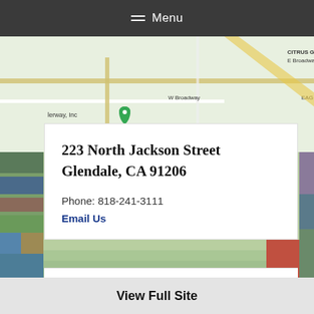Menu
[Figure (map): Google Maps screenshot showing Glendale area with street labels including W Broadway, E Broadway, CITRUS GROVE, E Colorado St, and a green location pin marker. Aerial photo of buildings visible in background.]
223 North Jackson Street
Glendale, CA 91206
Phone: 818-241-3111
Email Us
Site Map
LCAP
View Full Site